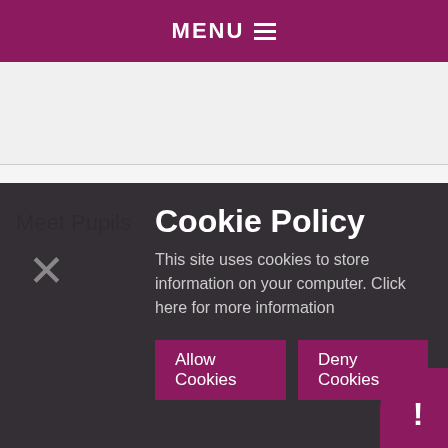MENU ☰
Meet Pupils
BOOK A VISIT
ADMISSIONS & FEES
Cookie Policy
This site uses cookies to store information on your computer. Click here for more information
Allow Cookies
Deny Cookies